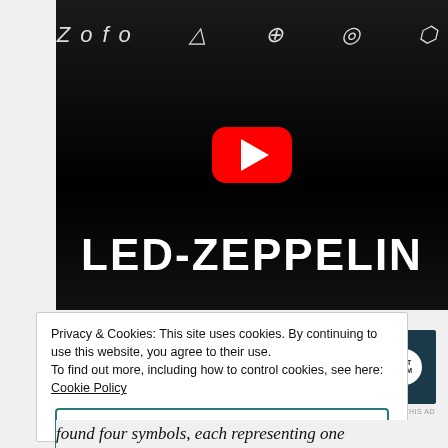[Figure (screenshot): Led Zeppelin YouTube video thumbnail with black background showing band symbols and 'LED-ZEPPELIN' text in large white letters, with a red YouTube play button overlay.]
Advertisements
[Figure (screenshot): Advertisement banner with dark teal background reading 'Opinions. We all have them!' with WordPress and another circular logo on the right.]
REPORT THIS AD
Privacy & Cookies: This site uses cookies. By continuing to use this website, you agree to their use.
To find out more, including how to control cookies, see here: Cookie Policy
Close and accept
found four symbols, each representing one